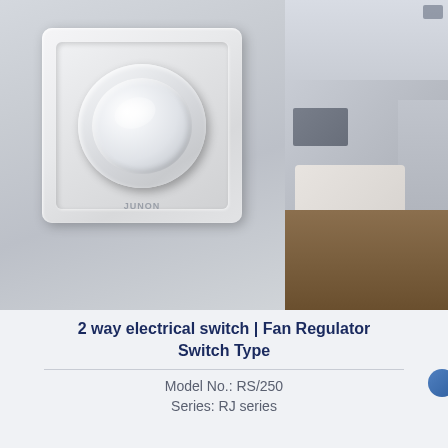[Figure (photo): Two-panel product image: left panel shows a white JUNON brand rotary fan regulator/dimmer switch mounted on a wall with a circular chrome knob and square white frame; right panel shows a modern living room interior with sofa, shelving, and wooden floor.]
2 way electrical switch | Fan Regulator Switch Type
Model No.: RS/250
Series: RJ series